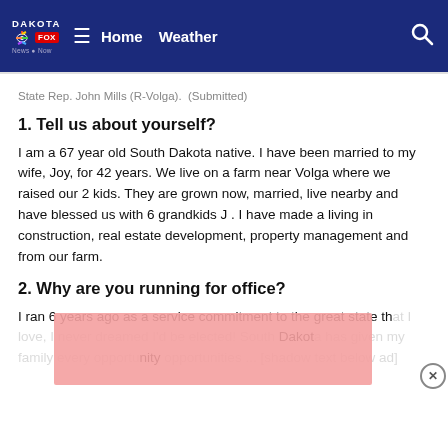Dakota Fox News Now — Home Weather
State Rep. John Mills (R-Volga).  (Submitted)
1. Tell us about yourself?
I am a 67 year old South Dakota native. I have been married to my wife, Joy, for 42 years. We live on a farm near Volga where we raised our 2 kids. They are grown now, married, live nearby and have blessed us with 6 grandkids J . I have made a living in construction, real estate development, property management and from our farm.
2. Why are you running for office?
I ran 6 years ago as a service commitment to the great state that I love, I never dreamed I'd be elected! South Dakota has given my family every opportunity ... [continues below]